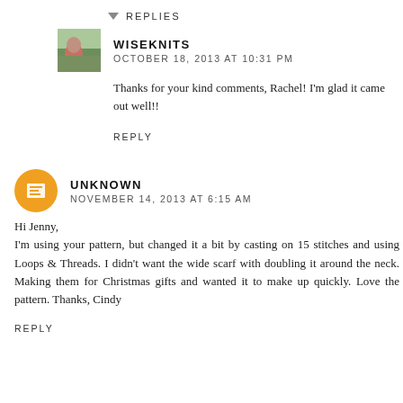REPLIES
WISEKNITS
OCTOBER 18, 2013 AT 10:31 PM
Thanks for your kind comments, Rachel! I'm glad it came out well!!
REPLY
UNKNOWN
NOVEMBER 14, 2013 AT 6:15 AM
Hi Jenny,
I'm using your pattern, but changed it a bit by casting on 15 stitches and using Loops & Threads. I didn't want the wide scarf with doubling it around the neck. Making them for Christmas gifts and wanted it to make up quickly. Love the pattern. Thanks, Cindy
REPLY